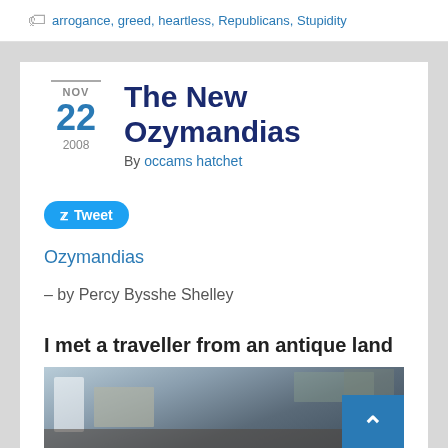arrogance, greed, heartless, Republicans, Stupidity
The New Ozymandias
NOV 22 2008
By occams hatchet
Tweet
Ozymandias
– by Percy Bysshe Shelley
I met a traveller from an antique land
[Figure (photo): Photograph of a destroyed or damaged urban building, showing rubble and smoke, likely a war-torn area.]